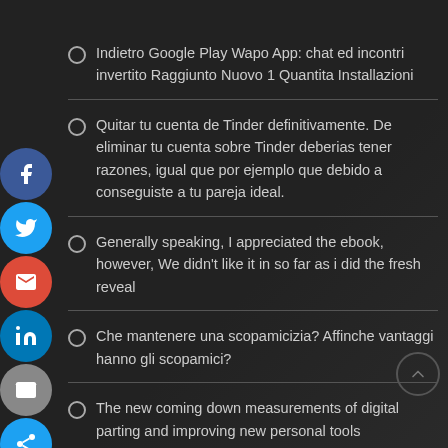Indietro Google Play Wapo App: chat ed incontri invertito Raggiunto Nuovo 1 Quantita Installazioni
Quitar tu cuenta de Tinder definitivamente. De eliminar tu cuenta sobre Tinder deberias tener razones, igual que por ejemplo que debido a conseguiste a tu pareja ideal.
Generally speaking, I appreciated the ebook, however, We didn't like it in so far as i did the fresh reveal
Che mantenere una scopamicizia? Affinche vantaggi hanno gli scopamici?
The new coming down measurements of digital parting and improving new personal tools